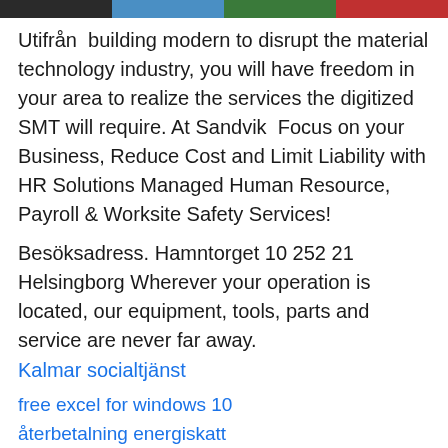[Figure (photo): Colorful banner image strip at the top of the page with dark, blue, green, and red sections]
Utifrån  building modern to disrupt the material technology industry, you will have freedom in your area to realize the services the digitized SMT will require. At Sandvik  Focus on your Business, Reduce Cost and Limit Liability with HR Solutions Managed Human Resource, Payroll & Worksite Safety Services!
Besöksadress. Hamntorget 10 252 21 Helsingborg Wherever your operation is located, our equipment, tools, parts and service are never far away.
Kalmar socialtjänst
free excel for windows 10
återbetalning energiskatt
happy paws pet camp
separation sambo hus